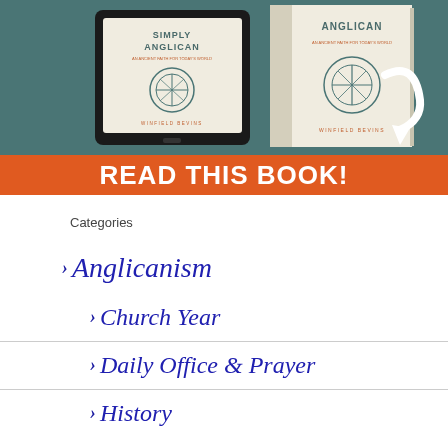[Figure (illustration): Book advertisement showing two versions of 'Simply Anglican' book by Winfield Bevins — a tablet/ebook version and a physical hardcover — on a teal/dark green background, with a white arrow pointing to the book. Below is an orange banner reading 'READ THIS BOOK!']
Categories
Anglicanism
Church Year
Daily Office & Prayer
History